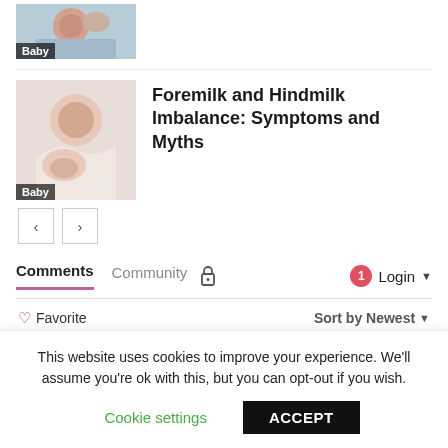[Figure (photo): Partial baby photo thumbnail with 'Baby' badge overlay at bottom left]
[Figure (photo): Mother breastfeeding baby, thumbnail image with 'Baby' badge overlay at bottom left]
Foremilk and Hindmilk Imbalance: Symptoms and Myths
< >
Comments  Community  🔒  1  Login ▼
♡ Favorite   Sort by Newest ▼
Start the discussion…
This website uses cookies to improve your experience. We'll assume you're ok with this, but you can opt-out if you wish.
Cookie settings   ACCEPT